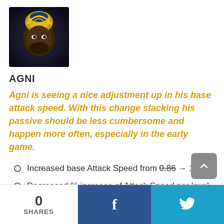[Figure (illustration): Character portrait of Agni, showing a stylized face with golden and dark blue tones]
AGNI
Agni is seeing a nice adjustment up in his base attack speed. With this change stacking his passive should be less cumbersome and happen more often, especially in the early game.
Increased base Attack Speed from 0.86 → 1.
Decreased % increase of Attack Speed per level from 1.01 → 0.95.
0 SHARES  f  🐦